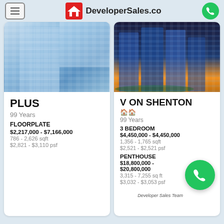DeveloperSales.co
[Figure (photo): Blue glass skyscraper building facade]
PLUS
99 Years
FLOORPLATE
$2,217,000 - $7,166,000
786 - 2,626 sqft
$2,821 - $3,110 psf
[Figure (photo): Colorful modern high-rise towers at dusk]
V ON SHENTON
99 Years
3 BEDROOM
$4,450,000 - $4,450,000
1,356 - 1,765 sqft
$2,521 - $2,521 psf
PENTHOUSE
$18,800,000 - $20,800,000
3,315 - 7,255 sqft
$3,032 - $3,053 psf